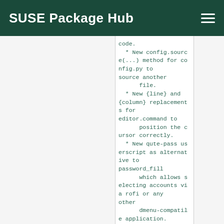SUSE Package Hub
code.
  * New config.source(...) method for config.py to source another
      file.
  * New {line} and {column} replacements for editor.command to
      position the cursor correctly.
  * New qute-pass userscript as alternative to password_fill
      which allows selecting accounts via rofi or any other
      dmenu-compatile application.
  * New hist_importer.py script to import history from
      Firefox/Chromium.
  Changed:
  * Some settings got renamed:
  * tabs.width.bar -> tabs.width
  * tabs.width.indicator -> tabs.indicator.width
  * tabs.indicator_padding -> tabs.indicator.padding
  * session_default_name -> session.default_name